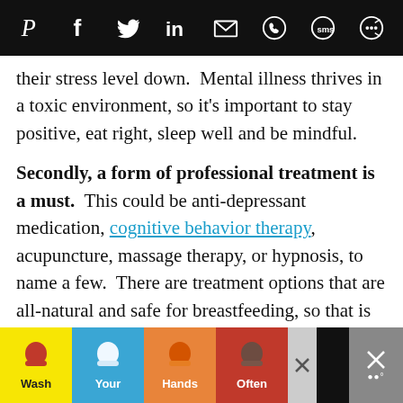Social sharing icons: Pinterest, Facebook, Twitter, LinkedIn, Email, WhatsApp, SMS, Other
their stress level down.  Mental illness thrives in a toxic environment, so it’s important to stay positive, eat right, sleep well and be mindful.
Secondly, a form of professional treatment is a must.  This could be anti-depressant medication, cognitive behavior therapy, acupuncture, massage therapy, or hypnosis, to name a few.  There are treatment options that are all-natural and safe for breastfeeding, so that is not an excuse not to seek treatment.
[Figure (infographic): Advertisement banner showing 'Wash Your Hands Often' with hand-washing illustrations in colorful tiles (yellow, blue, orange, red backgrounds)]